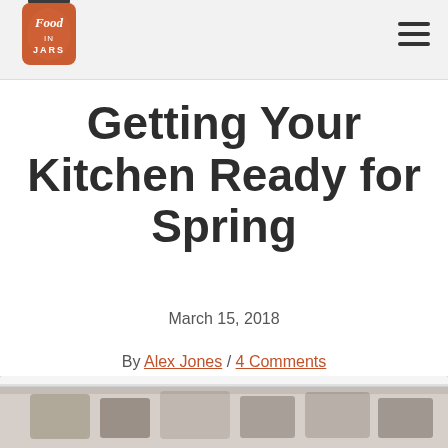Food in Jars
Getting Your Kitchen Ready for Spring
March 15, 2018
By Alex Jones / 4 Comments
[Figure (photo): Photo of a kitchen drawer or container with items inside, partially visible at the bottom of the page]